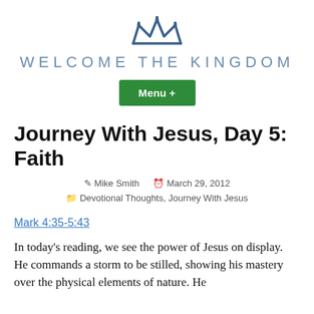[Figure (logo): Blue crown icon above the site name]
WELCOME THE KINGDOM
Menu +
Journey With Jesus, Day 5: Faith
Mike Smith   March 29, 2012
Devotional Thoughts, Journey With Jesus
Mark 4:35-5:43
In today's reading, we see the power of Jesus on display.  He commands a storm to be stilled, showing his mastery over the physical elements of nature. He